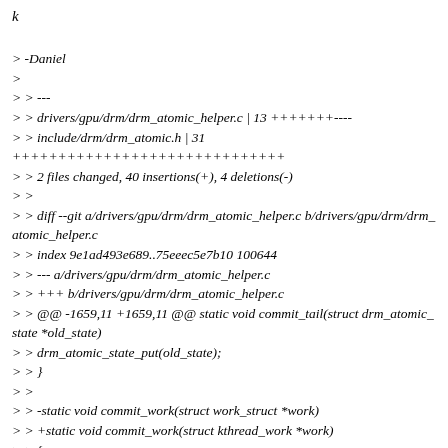k
> -Daniel
>
> > ---
> > drivers/gpu/drm/drm_atomic_helper.c | 13 +++++++----
> > include/drm/drm_atomic.h | 31
++++++++++++++++++++++++++++++
> > 2 files changed, 40 insertions(+), 4 deletions(-)
> >
> > diff --git a/drivers/gpu/drm/drm_atomic_helper.c b/drivers/gpu/drm/drm_atomic_helper.c
> > index 9e1ad493e689..75eeec5e7b10 100644
> > --- a/drivers/gpu/drm/drm_atomic_helper.c
> > +++ b/drivers/gpu/drm/drm_atomic_helper.c
> > @@ -1659,11 +1659,11 @@ static void commit_tail(struct drm_atomic_state *old_state)
> > drm_atomic_state_put(old_state);
> > }
> >
> > -static void commit_work(struct work_struct *work)
> > +static void commit_work(struct kthread_work *work)
> > {
> > struct drm_atomic_state *state = container_of(work,
> > struct drm_atomic_state,